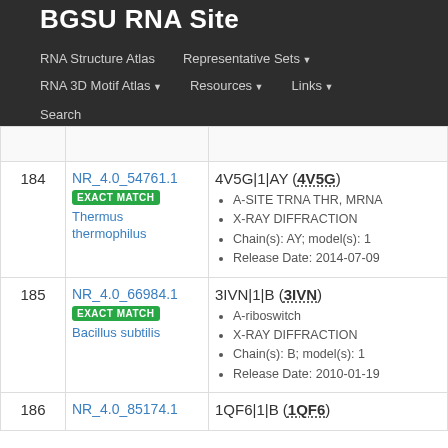BGSU RNA Site
RNA Structure Atlas | Representative Sets ▼ | RNA 3D Motif Atlas ▼ | Resources ▼ | Links ▼ | Search
| # | NR Set | Structure Info |
| --- | --- | --- |
| 184 | NR_4.0_54761.1 EXACT MATCH Thermus thermophilus | 4V5G|1|AY (4V5G)
A-SITE TRNA THR, MRNA
X-RAY DIFFRACTION
Chain(s): AY; model(s): 1
Release Date: 2014-07-09 |
| 185 | NR_4.0_66984.1 EXACT MATCH Bacillus subtilis | 3IVN|1|B (3IVN)
A-riboswitch
X-RAY DIFFRACTION
Chain(s): B; model(s): 1
Release Date: 2010-01-19 |
| 186 | NR_4.0_85174.1 | 1QF6|1|B (1QF6) |